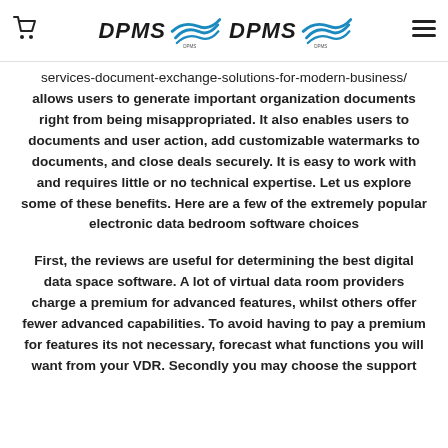DPMS [logo] DPMS [logo]
services-document-exchange-solutions-for-modern-business/ allows users to generate important organization documents right from being misappropriated. It also enables users to documents and user action, add customizable watermarks to documents, and close deals securely. It is easy to work with and requires little or no technical expertise. Let us explore some of these benefits. Here are a few of the extremely popular electronic data bedroom software choices
First, the reviews are useful for determining the best digital data space software. A lot of virtual data room providers charge a premium for advanced features, whilst others offer fewer advanced capabilities. To avoid having to pay a premium for features its not necessary, forecast what functions you will want from your VDR. Secondly you may choose the support